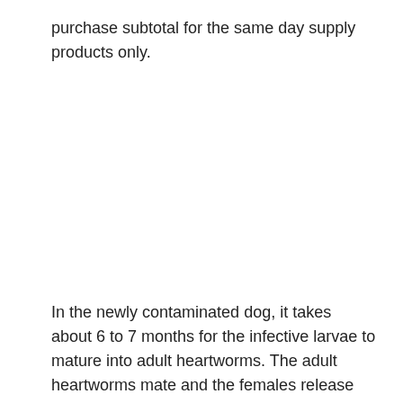purchase subtotal for the same day supply products only.
In the newly contaminated dog, it takes about 6 to 7 months for the infective larvae to mature into adult heartworms. The adult heartworms mate and the females release their